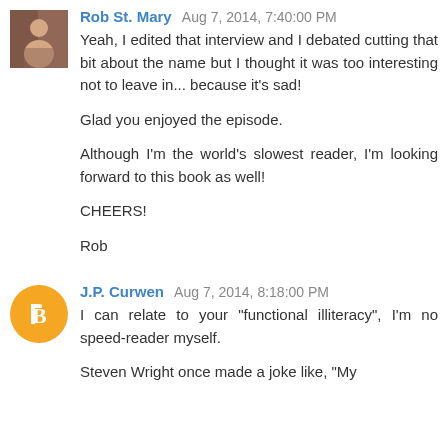[Figure (photo): Avatar thumbnail photo of Rob St. Mary]
Rob St. Mary  Aug 7, 2014, 7:40:00 PM
Yeah, I edited that interview and I debated cutting that bit about the name but I thought it was too interesting not to leave in... because it's sad!

Glad you enjoyed the episode.

Although I'm the world's slowest reader, I'm looking forward to this book as well!

CHEERS!

Rob
[Figure (illustration): Blogger default orange avatar circle icon for J.P. Curwen]
J.P. Curwen  Aug 7, 2014, 8:18:00 PM
I can relate to your "functional illiteracy", I'm no speed-reader myself.

Steven Wright once made a joke like, "My